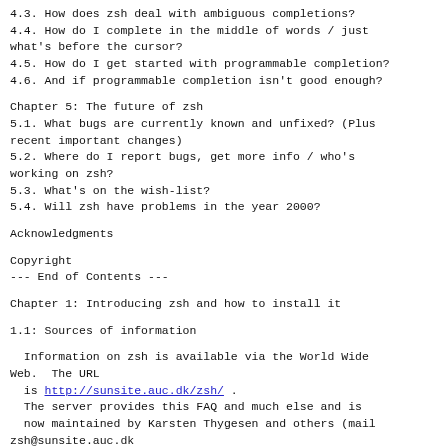4.3. How does zsh deal with ambiguous completions?
4.4. How do I complete in the middle of words / just what's before the cursor?
4.5. How do I get started with programmable completion?
4.6. And if programmable completion isn't good enough?
Chapter 5:  The future of zsh
5.1. What bugs are currently known and unfixed? (Plus recent important changes)
5.2. Where do I report bugs, get more info / who's working on zsh?
5.3. What's on the wish-list?
5.4. Will zsh have problems in the year 2000?
Acknowledgments
Copyright
--- End of Contents ---
Chapter 1: Introducing zsh and how to install it
1.1: Sources of information
Information on zsh is available via the World Wide Web.  The URL
  is http://sunsite.auc.dk/zsh/ .
  The server provides this FAQ and much else and is
  now maintained by Karsten Thygesen and others (mail
zsh@sunsite.auc.dk
  with any related messages).  The FAQ is at